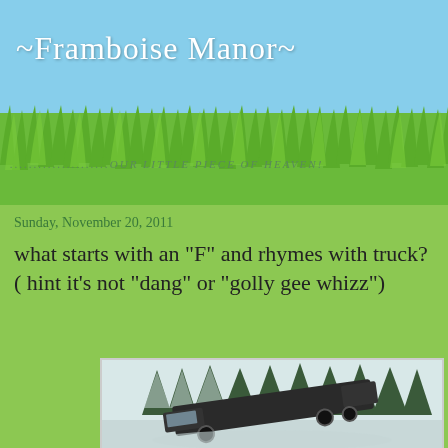~Framboise Manor~
.....................OUR LITTLE PIECE OF HEAVEN!
Sunday, November 20, 2011
what starts with an "F" and rhymes with truck?( hint it's not "dang" or "golly gee whizz")
[Figure (photo): An overturned or rolled truck on a snowy road with evergreen trees in the background]